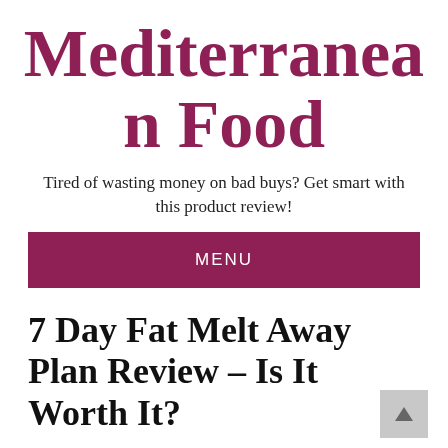Mediterranean Food
Tired of wasting money on bad buys? Get smart with this product review!
MENU
7 Day Fat Melt Away Plan Review – Is It Worth It?